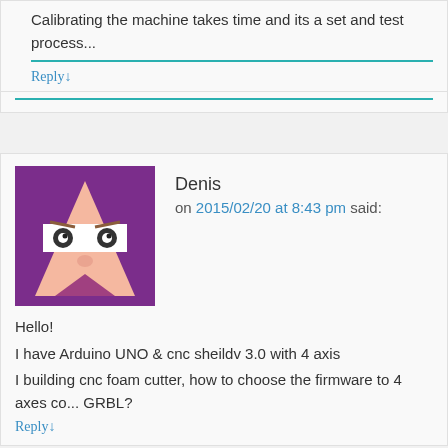Calibrating the machine takes time and its a set and test process...
Reply↓
Denis
on 2015/02/20 at 8:43 pm said:
Hello!
I have Arduino UNO & cnc sheildv 3.0 with 4 axis
I building cnc foam cutter, how to choose the firmware to 4 axes co... GRBL?
Reply↓
Bertus Kruger
on 2015/02/24 at 4:50 pm said: